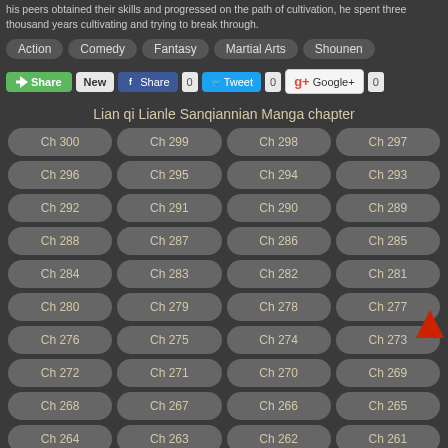his peers obtained their skills and progressed on the path of cultivation, he spent three thousand years cultivating and trying to break through.
Action
Comedy
Fantasy
Martial Arts
Shounen
Share | New | Share 0 | Tweet 0 | Google+ 0
Lian qi Lianle Sanqiannian Manga chapter
Ch 300
Ch 299
Ch 298
Ch 297
Ch 296
Ch 295
Ch 294
Ch 293
Ch 292
Ch 291
Ch 290
Ch 289
Ch 288
Ch 287
Ch 286
Ch 285
Ch 284
Ch 283
Ch 282
Ch 281
Ch 280
Ch 279
Ch 278
Ch 277
Ch 276
Ch 275
Ch 274
Ch 273
Ch 272
Ch 271
Ch 270
Ch 269
Ch 268
Ch 267
Ch 266
Ch 265
Ch 264
Ch 263
Ch 262
Ch 261
Ch 260
Ch 259
Ch 258
Ch 257